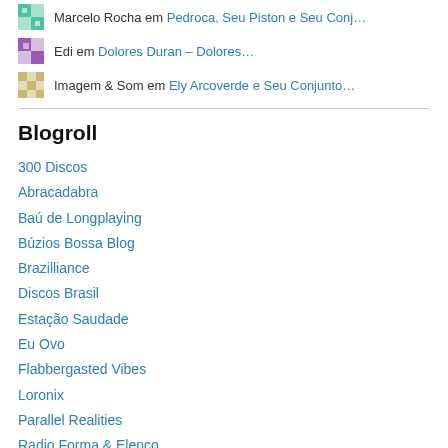Marcelo Rocha em Pedroca, Seu Piston e Seu Conj…
Edi em Dolores Duran – Dolores…
Imagem & Som em Ely Arcoverde e Seu Conjunto…
Blogroll
300 Discos
Abracadabra
Baú de Longplaying
Búzios Bossa Blog
Brazilliance
Discos Brasil
Estação Saudade
Eu Ovo
Flabbergasted Vibes
Loronix
Parallel Realities
Radio Forma & Elenco
Raridades Musicais Brasileiras